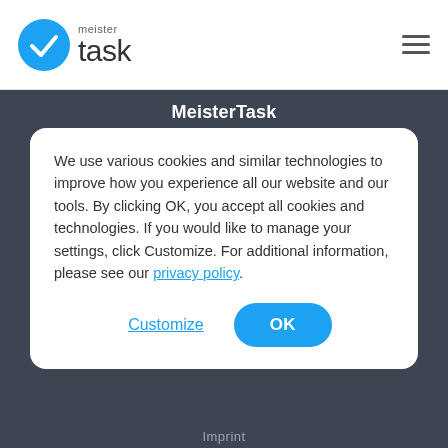[Figure (logo): MeisterTask logo: blue circle with white checkmark, and text 'meister task' beside it]
MeisterTask
We use various cookies and similar technologies to improve how you experience all our website and our tools. By clicking OK, you accept all cookies and technologies. If you would like to manage your settings, click Customize. For additional information, please see our privacy policy.
Customize
OK
Imprint